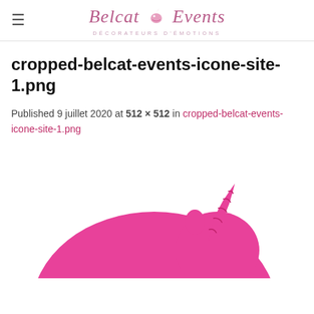Belcat Events — DÉCORATEURS D'ÉMOTIONS
cropped-belcat-events-icone-site-1.png
Published 9 juillet 2020 at 512 × 512 in cropped-belcat-events-icone-site-1.png
[Figure (illustration): Pink unicorn silhouette with a spiral horn, showing the upper body and head of a unicorn in solid hot pink color against a white background]